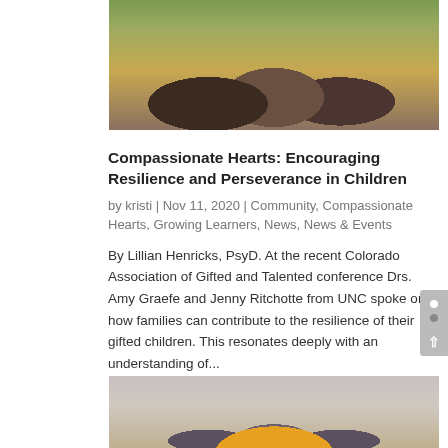[Figure (photo): Partial photo of people (legs visible) standing outdoors in autumn foliage, cropped at top of page]
Compassionate Hearts: Encouraging Resilience and Perseverance in Children
by kristi | Nov 11, 2020 | Community, Compassionate Hearts, Growing Learners, News, News & Events
By Lillian Henricks, PsyD. At the recent Colorado Association of Gifted and Talented conference Drs. Amy Graefe and Jenny Ritchotte from UNC spoke on how families can contribute to the resilience of their gifted children. This resonates deeply with an understanding of...
[Figure (photo): Photo of family silhouettes sitting together watching a sunset, seen from behind with warm golden light]